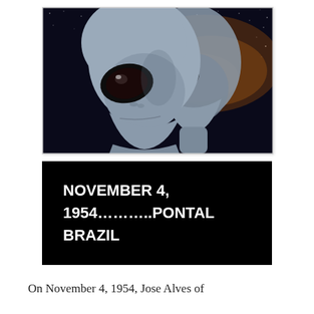[Figure (illustration): Two grey alien figures with large dark eyes and smooth elongated heads against a dark starry space background with orange nebula glow]
NOVEMBER 4, 1954………..PONTAL BRAZIL
On November 4, 1954, Jose Alves of